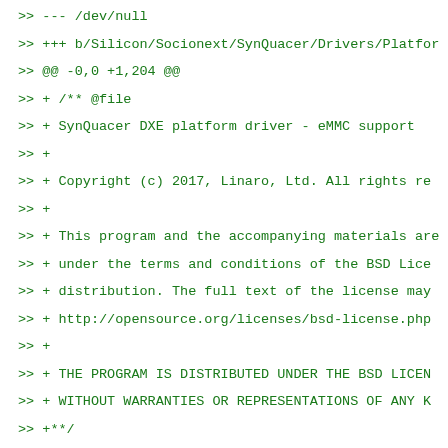>> --- /dev/null
>> +++ b/Silicon/Socionext/SynQuacer/Drivers/Platform
>> @@ -0,0 +1,204 @@
>> + /** @file
>> +  SynQuacer DXE platform driver - eMMC support
>> +
>> +  Copyright (c) 2017, Linaro, Ltd. All rights re
>> +
>> +  This program and the accompanying materials are
>> +  under the terms and conditions of the BSD Lice
>> +  distribution.  The full text of the license may
>> +  http://opensource.org/licenses/bsd-license.php
>> +
>> +  THE PROGRAM IS DISTRIBUTED UNDER THE BSD LICEN
>> +  WITHOUT WARRANTIES OR REPRESENTATIONS OF ANY K
>> +**/